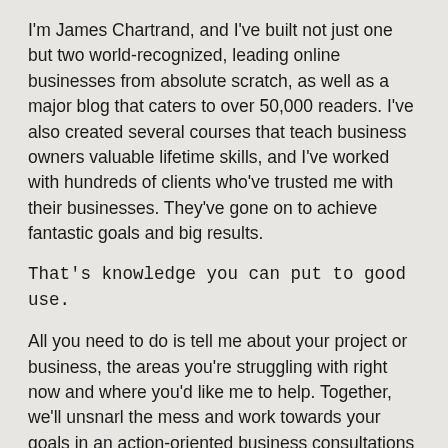I'm James Chartrand, and I've built not just one but two world-recognized, leading online businesses from absolute scratch, as well as a major blog that caters to over 50,000 readers. I've also created several courses that teach business owners valuable lifetime skills, and I've worked with hundreds of clients who've trusted me with their businesses. They've gone on to achieve fantastic goals and big results.
That's knowledge you can put to good use.
All you need to do is tell me about your project or business, the areas you're struggling with right now and where you'd like me to help. Together, we'll unsnarl the mess and work towards your goals in an action-oriented business consultations designed to help you get unstuck and succeed. We'll hook up on a telephone call or carry out our consultation via email.